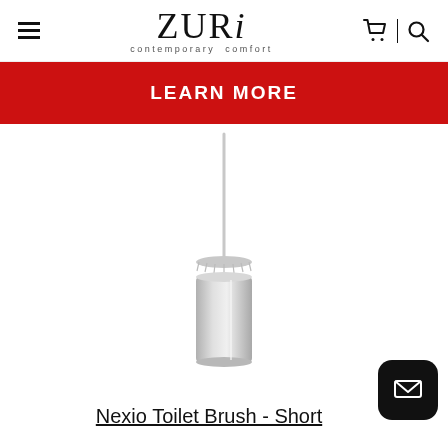Zuri contemporary comfort — navigation header with hamburger menu, cart, and search icons
LEARN MORE
[Figure (photo): Nexio Toilet Brush Short — a cylindrical stainless steel toilet brush holder with a long thin handle, shown on white background]
Nexio Toilet Brush - Short